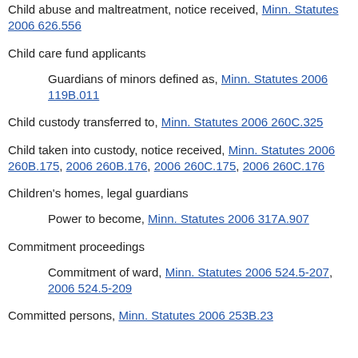Child abuse and maltreatment, notice received, Minn. Statutes 2006 626.556
Child care fund applicants
Guardians of minors defined as, Minn. Statutes 2006 119B.011
Child custody transferred to, Minn. Statutes 2006 260C.325
Child taken into custody, notice received, Minn. Statutes 2006 260B.175, 2006 260B.176, 2006 260C.175, 2006 260C.176
Children's homes, legal guardians
Power to become, Minn. Statutes 2006 317A.907
Commitment proceedings
Commitment of ward, Minn. Statutes 2006 524.5-207, 2006 524.5-209
Committed persons, Minn. Statutes 2006 253B.23